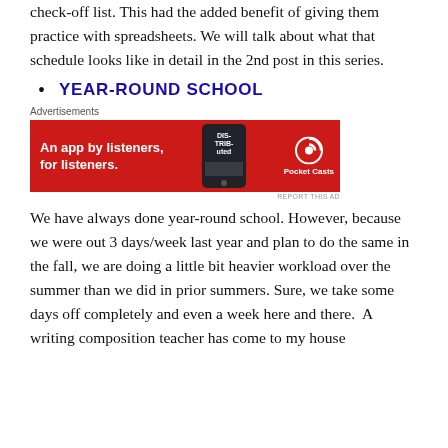check-off list. This had the added benefit of giving them practice with spreadsheets. We will talk about what that schedule looks like in detail in the 2nd post in this series.
YEAR-ROUND SCHOOL
[Figure (other): Pocket Casts advertisement banner: red background, text 'An app by listeners, for listeners.' with phone image and Pocket Casts logo]
We have always done year-round school. However, because we were out 3 days/week last year and plan to do the same in the fall, we are doing a little bit heavier workload over the summer than we did in prior summers. Sure, we take some days off completely and even a week here and there.  A writing composition teacher has come to my house